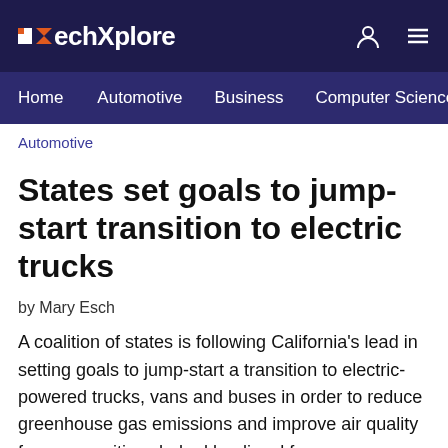TechXplore
Home  Automotive  Business  Computer Sciences
Automotive
States set goals to jump-start transition to electric trucks
by Mary Esch
A coalition of states is following California's lead in setting goals to jump-start a transition to electric-powered trucks, vans and buses in order to reduce greenhouse gas emissions and improve air quality for communities choked by diesel fumes.